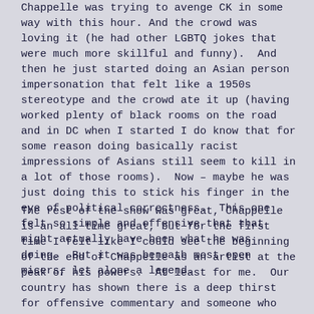Chappelle was trying to avenge CK in some way with this hour. And the crowd was loving it (he had other LGBTQ jokes that were much more skillful and funny).  And then he just started doing an Asian person impersonation that felt like a 1950s stereotype and the crowd ate it up (having worked plenty of black rooms on the road and in DC when I started I do know that for some reason doing basically racist impressions of Asians still seem to kill in a lot of those rooms).  Now – maybe he was just doing this to stick his finger in the eye of political correctness.  This one felt so simple and offensive that that might actually have been what he was doing.  But it was beneath most open micers, let alone a legend.
The rest of the show was great, Chappelle is an all time great, but for the first time I felt like I could see the beginning of the end of Chappelle as an artist at the peak of his powers.  At least for me.  Our country has shown there is a deep thirst for offensive commentary and someone who will stop sensitivity and political correctness from being used as dual cudgels to hammer people into a future they haven't signed on for.  And maybe I am wrong –